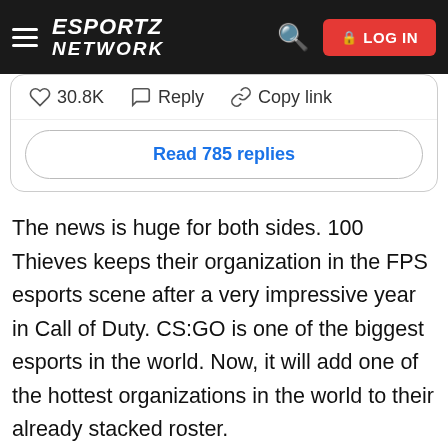ESPORTZ NETWORK — LOG IN
30.8K   Reply   Copy link
Read 785 replies
The news is huge for both sides. 100 Thieves keeps their organization in the FPS esports scene after a very impressive year in Call of Duty. CS:GO is one of the biggest esports in the world. Now, it will add one of the hottest organizations in the world to their already stacked roster.
Nadeshot made it clear that paying the buy-in price for the upcoming season in the CDL